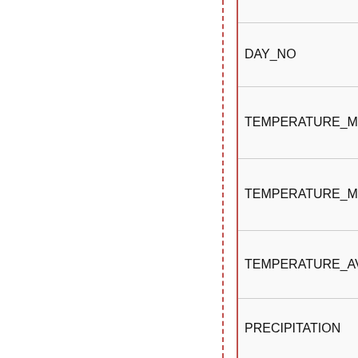| Field |
| --- |
| DAY_NO |
| TEMPERATURE_MIN |
| TEMPERATURE_MAX |
| TEMPERATURE_AVG |
| PRECIPITATION |
|  |